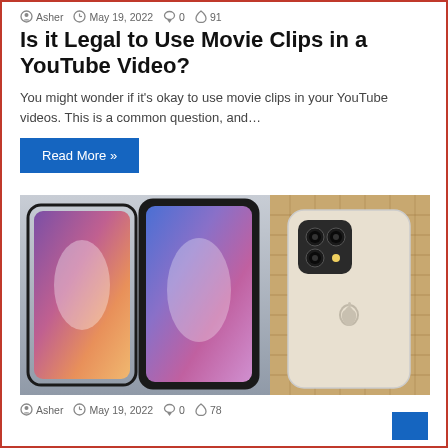Asher  May 19, 2022  0  91
Is it Legal to Use Movie Clips in a YouTube Video?
You might wonder if it's okay to use movie clips in your YouTube videos. This is a common question, and…
Read More »
[Figure (photo): Three smartphones displayed side by side — two facing front showing colorful abstract wallpapers, and one facing back showing Apple iPhone with triple camera system, leaning against a wicker basket.]
Asher  May 19, 2022  0  78